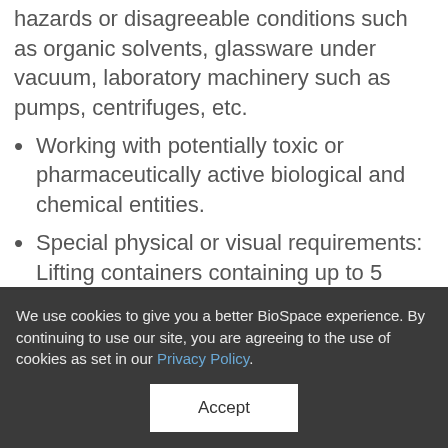hazards or disagreeable conditions such as organic solvents, glassware under vacuum, laboratory machinery such as pumps, centrifuges, etc.
Working with potentially toxic or pharmaceutically active biological and chemical entities.
Special physical or visual requirements: Lifting containers containing up to 5 gallons of solvent.
Travel: about 5%
Benefits (partial, cut off)
We use cookies to give you a better BioSpace experience. By continuing to use our site, you are agreeing to the use of cookies as set in our Privacy Policy.